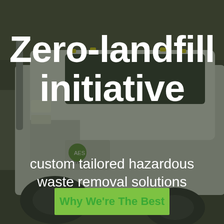[Figure (photo): Background photo of a white hazardous waste removal truck parked in a industrial facility, with a dark overlay.]
Zero-landfill initiative
custom tailored hazardous waste removal solutions
Why We're The Best